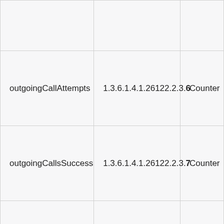|  |  |  |
| outgoingCallAttempts | 1.3.6.1.4.1.26122.2.3.6 | Counter |
| outgoingCallsSuccess | 1.3.6.1.4.1.26122.2.3.7 | Counter |
| outgoingCallsFailed | 1.3.6.1.4.1.26122.2.3.8 | Counter |